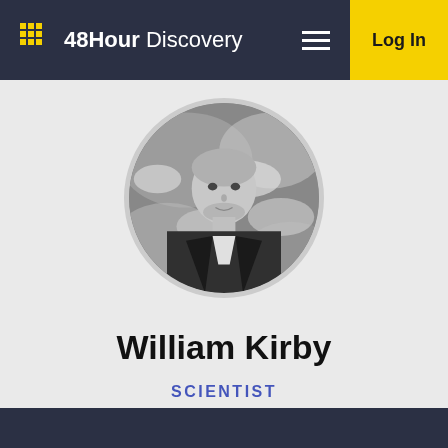48Hour Discovery | Log In
[Figure (photo): Circular profile photo of William Kirby, a man with light hair and beard wearing a suit jacket, with a globe/Earth image as background, rendered in black and white.]
William Kirby
SCIENTIST